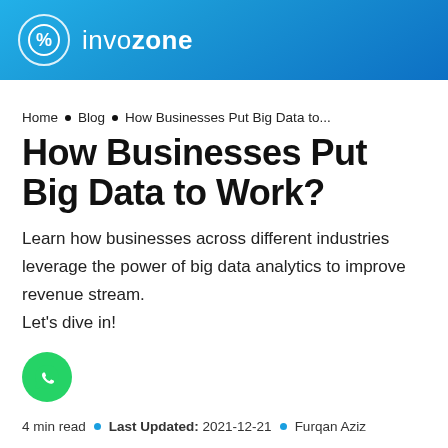invozone
Home • Blog • How Businesses Put Big Data to...
How Businesses Put Big Data to Work?
Learn how businesses across different industries leverage the power of big data analytics to improve revenue stream.
Let's dive in!
4 min read • Last Updated: 2021-12-21 • Furqan Aziz